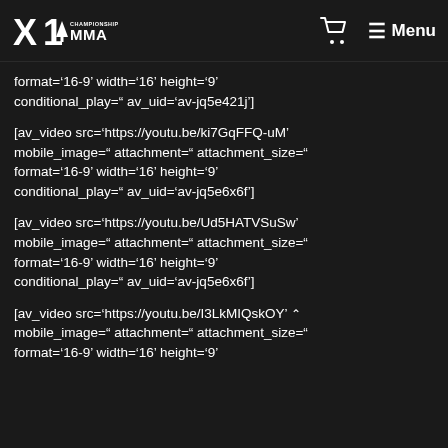X1 Championship MMA — Menu
format='16-9' width='16' height='9' conditional_play=" av_uid='av-jq5e421j']
[av_video src='https://youtu.be/ki7GqFFQ-uM' mobile_image=" attachment=" attachment_size=" format='16-9' width='16' height='9' conditional_play=" av_uid='av-jq5e6x6f']
[av_video src='https://youtu.be/Ud5HATVSuSw' mobile_image=" attachment=" attachment_size=" format='16-9' width='16' height='9' conditional_play=" av_uid='av-jq5e6x6f']
[av_video src='https://youtu.be/I3LkMIQskOY' mobile_image=" attachment=" attachment_size=" format='16-9' width='16' height='9'